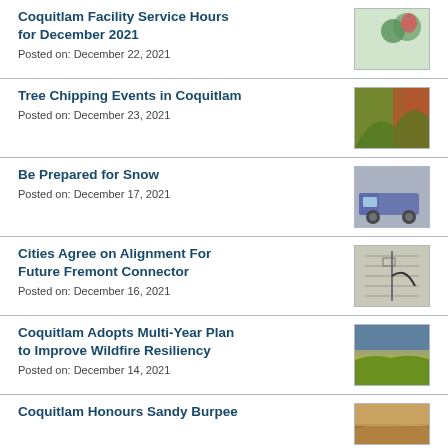Coquitlam Facility Service Hours for December 2021
Posted on: December 22, 2021
[Figure (photo): Christmas decoration with red bow and green holly on snowy background]
Tree Chipping Events in Coquitlam
Posted on: December 23, 2021
[Figure (photo): Green Christmas tree branches with red machinery in background]
Be Prepared for Snow
Posted on: December 17, 2021
[Figure (photo): Blue municipal snow plow truck]
Cities Agree on Alignment For Future Fremont Connector
Posted on: December 16, 2021
[Figure (map): Aerial or map view showing Fremont Connector alignment]
Coquitlam Adopts Multi-Year Plan to Improve Wildfire Resiliency
Posted on: December 14, 2021
[Figure (photo): Hillside landscape showing dry grassland and trees]
Coquitlam Honours Sandy Burpee